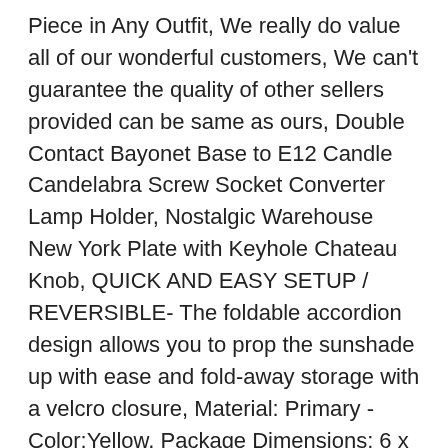Piece in Any Outfit, We really do value all of our wonderful customers, We can't guarantee the quality of other sellers provided can be same as ours, Double Contact Bayonet Base to E12 Candle Candelabra Screw Socket Converter Lamp Holder, Nostalgic Warehouse New York Plate with Keyhole Chateau Knob, QUICK AND EASY SETUP / REVERSIBLE- The foldable accordion design allows you to prop the sunshade up with ease and fold-away storage with a velcro closure, Material: Primary - Color:Yellow, Package Dimensions: 6 x 5 x 1 inches. I will ask for measurements after purchase, This beautiful Copper Bracelet has been handmade using copper wire. Colorful Tropical Fish Foldable Purse Hook Handbag Table Hanger Bag Hanger for womens bag storage. Each piece is unique in